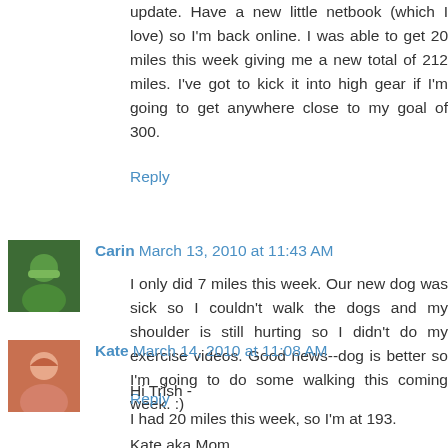update. Have a new little netbook (which I love) so I'm back online. I was able to get 20 miles this week giving me a new total of 212 miles. I've got to kick it into high gear if I'm going to get anywhere close to my goal of 300.
Reply
Carin  March 13, 2010 at 11:43 AM
I only did 7 miles this week. Our new dog was sick so I couldn't walk the dogs and my shoulder is still hurting so I didn't do my exercise videos. Good news--dog is better so I'm going to do some walking this coming week. :)
Reply
Kate  March 14, 2010 at 11:08 AM
Hi Trish -
I had 20 miles this week, so I'm at 193.
Kate aka Mom